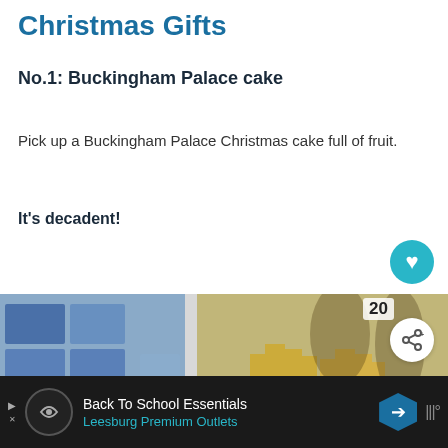Christmas Gifts
No.1: Buckingham Palace cake
Pick up a Buckingham Palace Christmas cake full of fruit.
It's decadent!
[Figure (photo): Photo of a gift shop showing blue and white porcelain items on the left shelf, and decorative crown ornaments in red and gold on the right side. A WHAT'S NEXT callout with 'ULTIMATE GUIDE TO...' text appears in the lower right corner. A share button with '20' count and a heart button are overlaid on the image.]
WHAT'S NEXT → ULTIMATE GUIDE TO...
Back To School Essentials
Leesburg Premium Outlets